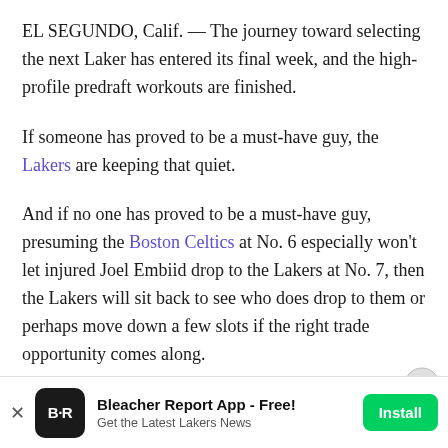EL SEGUNDO, Calif. — The journey toward selecting the next Laker has entered its final week, and the high-profile predraft workouts are finished.
If someone has proved to be a must-have guy, the Lakers are keeping that quiet.
And if no one has proved to be a must-have guy, presuming the Boston Celtics at No. 6 especially won't let injured Joel Embiid drop to the Lakers at No. 7, then the Lakers will sit back to see who does drop to them or perhaps move down a few slots if the right trade opportunity comes along.
Even though the Lakers had Marcus Smart, Aaron Gordon and Elfrid Payton in for workouts prior to Friday...
Bleacher Report App - Free! Get the Latest Lakers News  Install